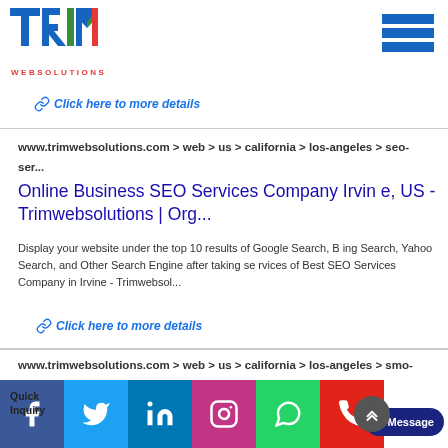[Figure (logo): Trim Websolutions logo with T, R, I, M letters in blue, green, red colors and WEBSOLUTIONS text below]
Click here to more details
www.trimwebsolutions.com > web > us > california > los-angeles > seo-ser...
Online Business SEO Services Company Irvine, US - Trimwebsolutions | Org...
Display your website under the top 10 results of Google Search, Bing Search, Yahoo Search, and Other Search Engine after taking services of Best SEO Services Company in Irvine - Trimwebsol...
Click here to more details
www.trimwebsolutions.com > web > us > california > los-angeles > smo-ser...
Social Media Optimization (SMO) Services Company...
Quick Inquiry
[Figure (infographic): Social media share bar with Facebook, Twitter, LinkedIn, Instagram, WhatsApp, Phone icons and a Message button and scroll-up arrow]